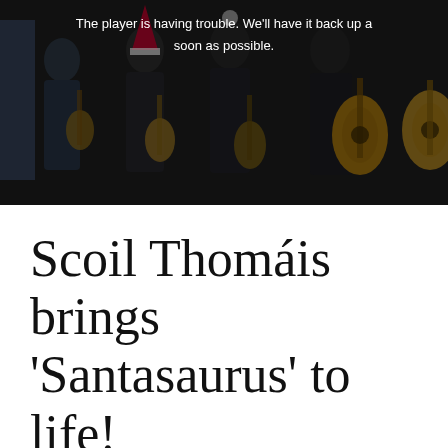[Figure (photo): Dark video frame showing a group of people playing guitars, some wearing Santa hats, with a video player error message overlay reading 'The player is having trouble. We'll have it back up as soon as possible.']
Scoil Thomáis brings 'Santasaurus' to life!